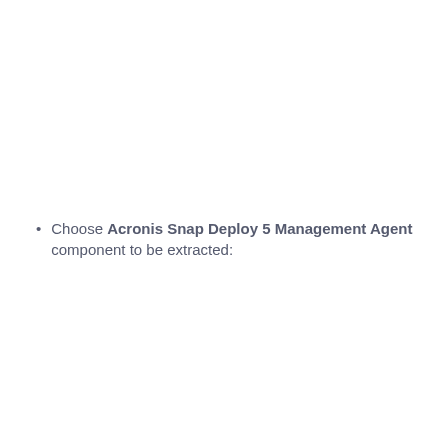Choose Acronis Snap Deploy 5 Management Agent component to be extracted: